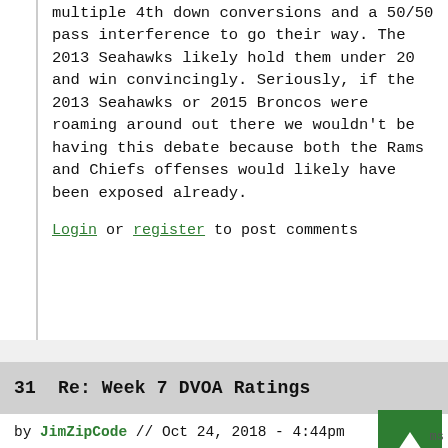multiple 4th down conversions and a 50/50 pass interference to go their way. The 2013 Seahawks likely hold them under 20 and win convincingly. Seriously, if the 2013 Seahawks or 2015 Broncos were roaming around out there we wouldn't be having this debate because both the Rams and Chiefs offenses would likely have been exposed already.
Login or register to post comments
31  Re: Week 7 DVOA Ratings
by JimZipCode // Oct 24, 2018 - 4:44pm
...it's going to be hard for the "Defense Wins Championships" maxim to stay alive.